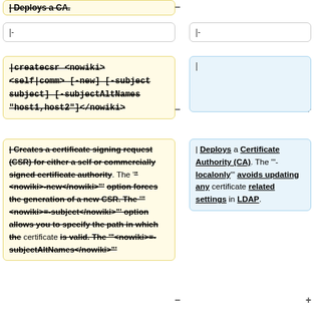| Deploys a CA.
|-
|-
|createcsr <nowiki> <self|comm> [-new] [-subject subject] [-subjectAltNames "host1,host2"]</nowiki>
|
| Creates a certificate signing request (CSR) for either a self or commercially signed certificate authority. The '"<nowiki>-new</nowiki>"' option forces the generation of a new CSR. The '"<nowiki>=-subject</nowiki>"' option allows you to specify the path in which the certificate is valid. The '"<nowiki>=-subjectAltNames</nowiki>"'
| Deploys a Certificate Authority (CA). The '"-localonly"' avoids updating any certificate related settings in LDAP.